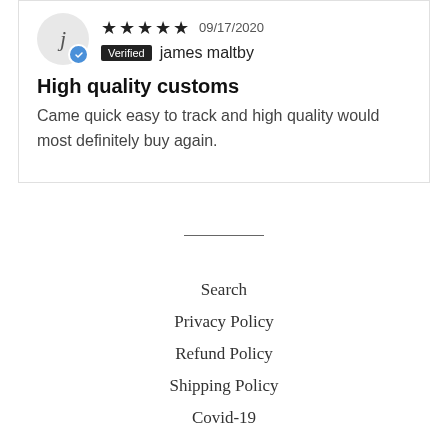j | Verified james maltby | 09/17/2020
High quality customs
Came quick easy to track and high quality would most definitely buy again.
Search
Privacy Policy
Refund Policy
Shipping Policy
Covid-19